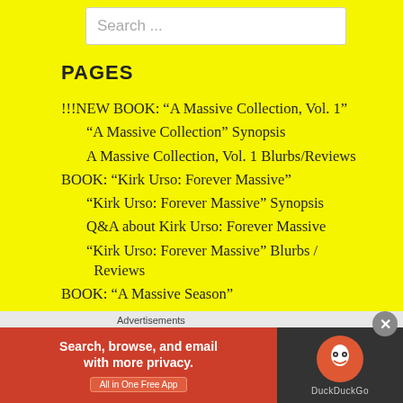Search ...
PAGES
!!!NEW BOOK: “A Massive Collection, Vol. 1”
“A Massive Collection” Synopsis
A Massive Collection, Vol. 1 Blurbs/Reviews
BOOK: “Kirk Urso: Forever Massive”
“Kirk Urso: Forever Massive” Synopsis
Q&A about Kirk Urso: Forever Massive
“Kirk Urso: Forever Massive” Blurbs / Reviews
BOOK: “A Massive Season”
“A Massive Season” Synopsis
“A Massive Season” Blurbs / Reviews
Buy Books
Advertisements
[Figure (other): DuckDuckGo advertisement banner: Search, browse, and email with more privacy. All in One Free App]